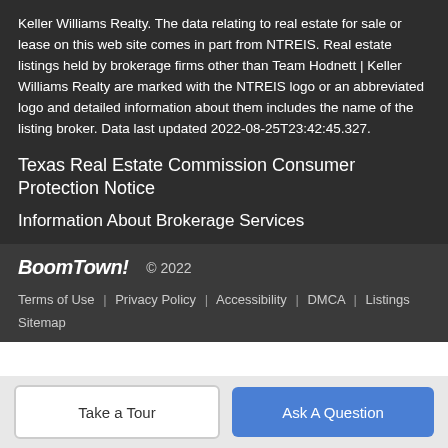Keller Williams Realty. The data relating to real estate for sale or lease on this web site comes in part from NTREIS. Real estate listings held by brokerage firms other than Team Hodnett | Keller Williams Realty are marked with the NTREIS logo or an abbreviated logo and detailed information about them includes the name of the listing broker. Data last updated 2022-08-25T23:42:45.327.
Texas Real Estate Commission Consumer Protection Notice
Information About Brokerage Services
BoomTown! © 2022
Terms of Use | Privacy Policy | Accessibility | DMCA | Listings Sitemap
Take a Tour
Ask A Question